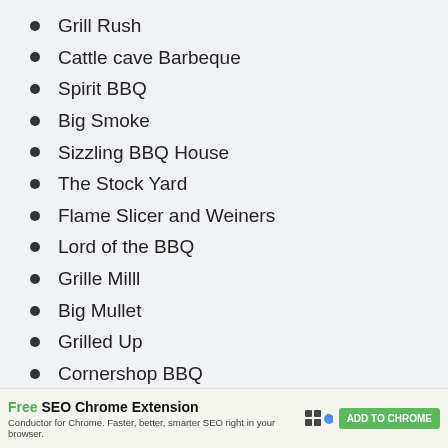Grill Rush
Cattle cave Barbeque
Spirit BBQ
Big Smoke
Sizzling BBQ House
The Stock Yard
Flame Slicer and Weiners
Lord of the BBQ
Grille Milll
Big Mullet
Grilled Up
Cornershop BBQ
Free SEO Chrome Extension — Conductor for Chrome. Faster, better, smarter SEO right in your browser. ADD TO CHROME